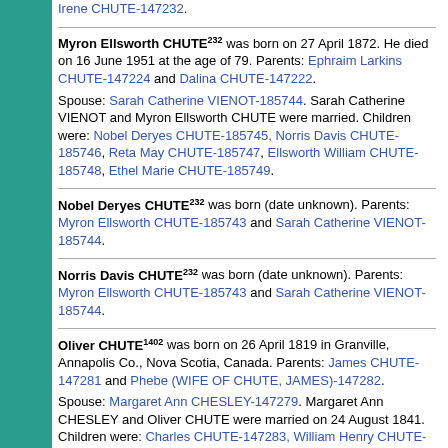Irene CHUTE-147232.
Myron Ellsworth CHUTE232 was born on 27 April 1872. He died on 16 June 1951 at the age of 79. Parents: Ephraim Larkins CHUTE-147224 and Dalina CHUTE-147222. Spouse: Sarah Catherine VIENOT-185744. Sarah Catherine VIENOT and Myron Ellsworth CHUTE were married. Children were: Nobel Deryes CHUTE-185745, Norris Davis CHUTE-185746, Reta May CHUTE-185747, Ellsworth William CHUTE-185748, Ethel Marie CHUTE-185749.
Nobel Deryes CHUTE232 was born (date unknown). Parents: Myron Ellsworth CHUTE-185743 and Sarah Catherine VIENOT-185744.
Norris Davis CHUTE232 was born (date unknown). Parents: Myron Ellsworth CHUTE-185743 and Sarah Catherine VIENOT-185744.
Oliver CHUTE1402 was born on 26 April 1819 in Granville, Annapolis Co., Nova Scotia, Canada. Parents: James CHUTE-147281 and Phebe (WIFE OF CHUTE, JAMES)-147282. Spouse: Margaret Ann CHESLEY-147279. Margaret Ann CHESLEY and Oliver CHUTE were married on 24 August 1841. Children were: Charles CHUTE-147283, William Henry CHUTE-147284, Emily Victoria CHUTE-147292, James I. CHUTE-147294, Mary Havilah CHUTE-147295, Israel CHUTE...